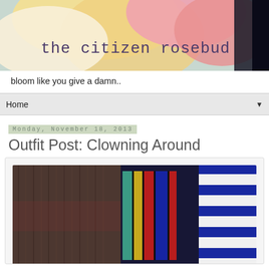[Figure (photo): Blog header image showing close-up of pink and yellow flower petals with the blog title 'the citizen rosebud' overlaid in purple monospace font]
bloom like you give a damn..
Home
Monday, November 18, 2013
Outfit Post: Clowning Around
[Figure (photo): Close-up photo of colorful knitted or crocheted fabric with rainbow stripes (teal, yellow, red, blue) alongside navy and white striped fabric]